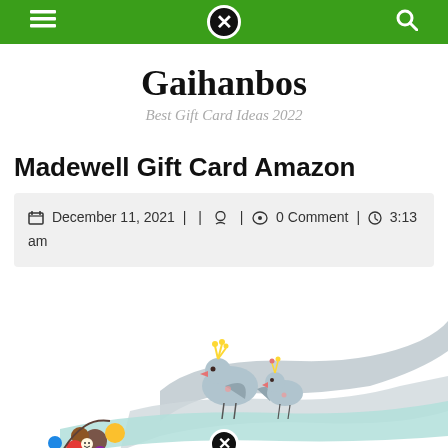Navigation bar with menu, close, and search icons
Gaihanbos
Best Gift Card Ideas 2022
Madewell Gift Card Amazon
December 11, 2021 | | [user icon] | [comment icon] 0 Comment | [clock icon] 3:13 am
[Figure (illustration): Cartoon illustration of two birds (one with a crown) perched on a floral-decorated ribbon banner, with a flowing grey banner shape behind them. Colorful flowers in the lower left corner.]